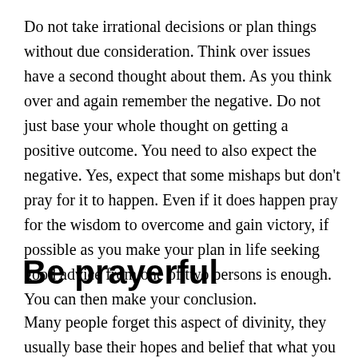Do not take irrational decisions or plan things without due consideration. Think over issues have a second thought about them. As you think over and again remember the negative. Do not just base your whole thought on getting a positive outcome. You need to also expect the negative. Yes, expect that some mishaps but don't pray for it to happen. Even if it does happen pray for the wisdom to overcome and gain victory, if possible as you make your plan in life seeking good advice from one of two persons is enough. You can then make your conclusion.
Be prayerful
Many people forget this aspect of divinity, they usually base their hopes and belief that what you will